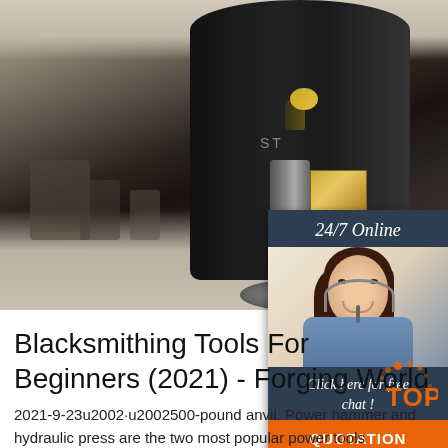[Figure (photo): Industrial forging machine (power hammer) in a factory/workshop setting, large black machine body with metallic stem and gold plate visible. Concrete floor with other equipment in background.]
[Figure (infographic): 24/7 Online customer service widget overlay on the right side. Shows a smiling woman with headset, text 'Click here for free chat !' and an orange QUOTATION button.]
Blacksmithing Tools For Beginners (2021) - Forging World
2021-9-23u2002·u2002500-pound anvil. Power hammer and hydraulic press are the two most popular power tools commonly used in blacksmithing. Both serve as a great